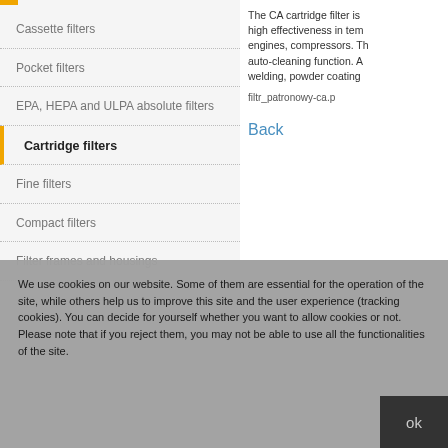The CA cartridge filter is high effectiveness in tem engines, compressors. The auto-cleaning function. A welding, powder coating
filtr_patronowy-ca.p
Cassette filters
Pocket filters
EPA, HEPA and ULPA absolute filters
Cartridge filters
Fine filters
Compact filters
Filter frames and housings
Back
We use cookies on our website. Some of them are essential for the operation of the site, while others help us to improve this site and the user experience (tracking cookies). You can decide for yourself whether you want to allow cookies or not. Please note that if you reject them, you may not be able to use all the functionalities of the site.